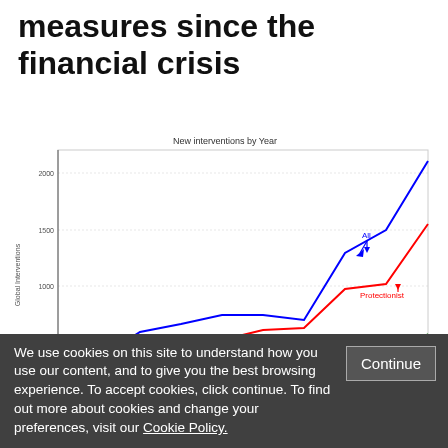measures since the financial crisis
[Figure (line-chart): New interventions by Year]
We use cookies on this site to understand how you use our content, and to give you the best browsing experience. To accept cookies, click continue. To find out more about cookies and change your preferences, visit our Cookie Policy.